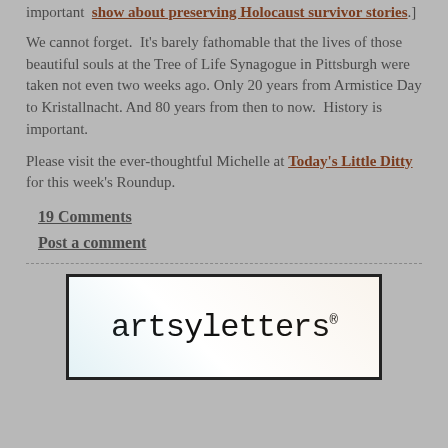important show about preserving Holocaust survivor stories.]
We cannot forget.  It's barely fathomable that the lives of those beautiful souls at the Tree of Life Synagogue in Pittsburgh were taken not even two weeks ago. Only 20 years from Armistice Day to Kristallnacht. And 80 years from then to now.  History is important.
Please visit the ever-thoughtful Michelle at Today's Little Ditty for this week's Roundup.
19 Comments
Post a comment
[Figure (logo): artsyletters logo in black monospace text on white background with decorative border]